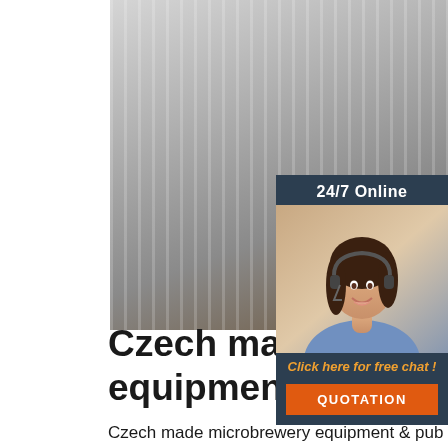[Figure (photo): Photo of stacked stainless steel or metal sheets/panels in a warehouse or storage area, shot from an angle showing the layered edges and a wooden pallet/floor in the background.]
[Figure (photo): Sidebar widget with dark navy background. Top text: '24/7 Online'. Center: photo of a smiling woman with a headset (customer service representative). Bottom: italic orange text 'Click here for free chat !' and an orange button labeled 'QUOTATION'.]
Czech made microbrewery equipment & pub brewery
Czech made microbrewery equipment & pub Brewery 3HL, 5HL, 10HL, 15HL, 20HL of craft beer per batch. Czech made microbrewery equipment with 2- or 3-vessel brewhouse sized from 5HL up to 20HL of beer per brew. Designed for 2 brews daily (3 brews/day on infusion machine). Annual capacity of brewing equipment...